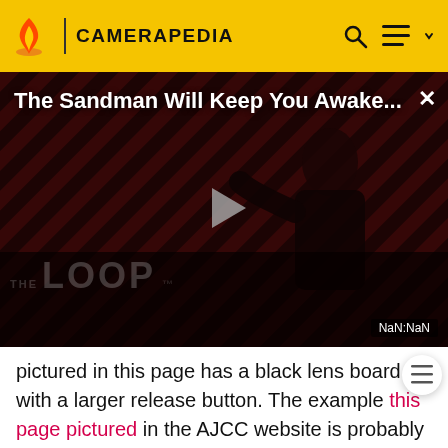CAMERAPEDIA
[Figure (screenshot): Video player showing 'The Sandman Will Keep You Awake...' with a dark diagonal stripe background featuring a figure in black, a play button in the center, 'THE LOOP' text at bottom, and NaN:NaN timestamp.]
pictured in this page has a black lens board with a larger release button. The example this page pictured in the AJCC website is probably later. It has the large release button, black crinkle paint on the lens board, a different advance knob with two rows of mills, and a slightly lower